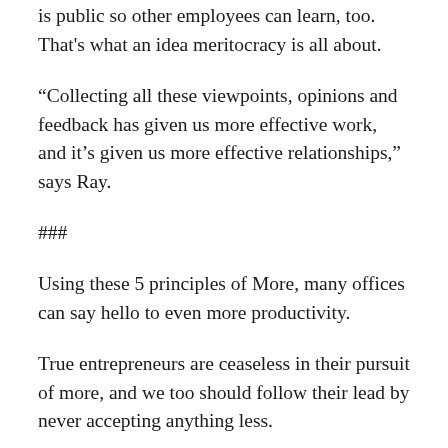is public so other employees can learn, too. That's what an idea meritocracy is all about.
“Collecting all these viewpoints, opinions and feedback has given us more effective work, and it’s given us more effective relationships,” says Ray.
###
Using these 5 principles of More, many offices can say hello to even more productivity.
True entrepreneurs are ceaseless in their pursuit of more, and we too should follow their lead by never accepting anything less.
It’s this same commitment to never accepting anything less than perfection that fuels GUINNESS Draught’s tagline of Made of More – there’s more